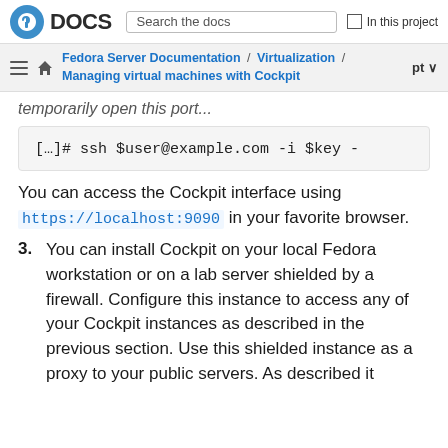DOCS | Search the docs | In this project
Fedora Server Documentation / Virtualization / Managing virtual machines with Cockpit | pt
temporarily open this port...
[…]# ssh $user@example.com -i $key
You can access the Cockpit interface using https://localhost:9090 in your favorite browser.
3. You can install Cockpit on your local Fedora workstation or on a lab server shielded by a firewall. Configure this instance to access any of your Cockpit instances as described in the previous section. Use this shielded instance as a proxy to your public servers. As described it